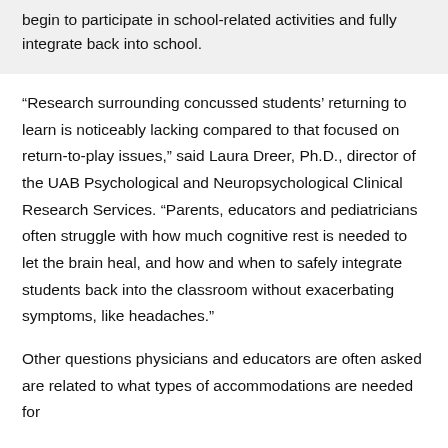begin to participate in school-related activities and fully integrate back into school.
“Research surrounding concussed students’ returning to learn is noticeably lacking compared to that focused on return-to-play issues,” said Laura Dreer, Ph.D., director of the UAB Psychological and Neuropsychological Clinical Research Services. “Parents, educators and pediatricians often struggle with how much cognitive rest is needed to let the brain heal, and how and when to safely integrate students back into the classroom without exacerbating symptoms, like headaches.”
Other questions physicians and educators are often asked are related to what types of accommodations are needed for